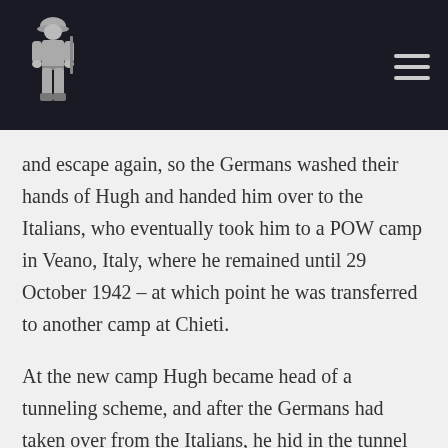[Figure (illustration): Website header with dark navy background featuring a WWI soldier illustration/logo on the left and a hamburger menu icon on the right]
and escape again, so the Germans washed their hands of Hugh and handed him over to the Italians, who eventually took him to a POW camp in Veano, Italy, where he remained until 29 October 1942 – at which point he was transferred to another camp at Chieti.
At the new camp Hugh became head of a tunneling scheme, and after the Germans had taken over from the Italians, he hid in the tunnel